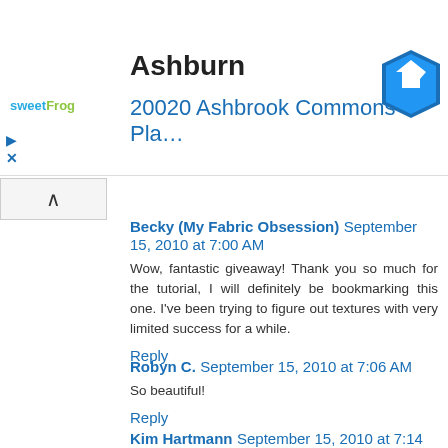[Figure (screenshot): Advertisement banner for sweetFrog frozen yogurt showing location in Ashburn at 20020 Ashbrook Commons Plaza with a navigation arrow icon]
Becky (My Fabric Obsession) September 15, 2010 at 7:00 AM
Wow, fantastic giveaway! Thank you so much for the tutorial, I will definitely be bookmarking this one. I've been trying to figure out textures with very limited success for a while.
Reply
Robyn C. September 15, 2010 at 7:06 AM
So beautiful!
Reply
Kim Hartmann September 15, 2010 at 7:14 AM